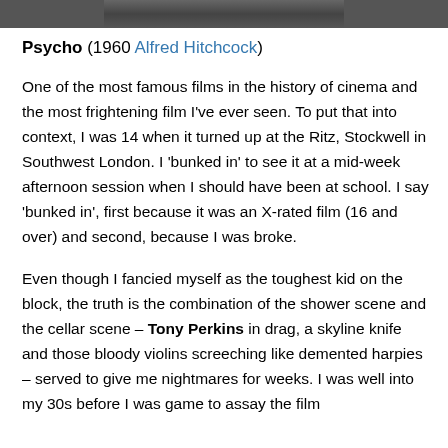[Figure (photo): Partial top edge of a black and white photograph, cropped at top of page]
Psycho (1960 Alfred Hitchcock)
One of the most famous films in the history of cinema and the most frightening film I've ever seen. To put that into context, I was 14 when it turned up at the Ritz, Stockwell in Southwest London. I 'bunked in' to see it at a mid-week afternoon session when I should have been at school. I say 'bunked in', first because it was an X-rated film (16 and over) and second, because I was broke.
Even though I fancied myself as the toughest kid on the block, the truth is the combination of the shower scene and the cellar scene – Tony Perkins in drag, a skyline knife and those bloody violins screeching like demented harpies – served to give me nightmares for weeks. I was well into my 30s before I was game to assay the film